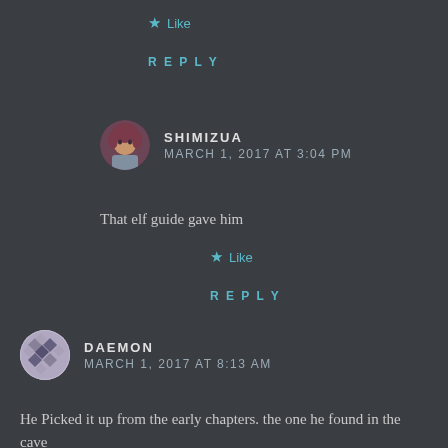Like
REPLY
SHIMIZUA
MARCH 1, 2017 AT 3:04 PM
That elf guide gave him
Like
REPLY
DAEMON
MARCH 1, 2017 AT 8:13 AM
He Picked it up from the early chapters. the one he found in the cave